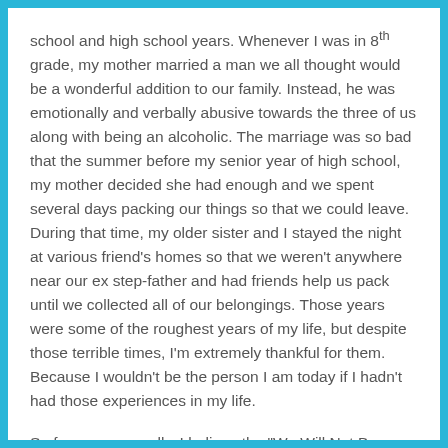school and high school years. Whenever I was in 8th grade, my mother married a man we all thought would be a wonderful addition to our family. Instead, he was emotionally and verbally abusive towards the three of us along with being an alcoholic. The marriage was so bad that the summer before my senior year of high school, my mother decided she had enough and we spent several days packing our things so that we could leave. During that time, my older sister and I stayed the night at various friend's homes so that we weren't anywhere near our ex step-father and had friends help us pack until we collected all of our belongings. Those years were some of the roughest years of my life, but despite those terrible times, I'm extremely thankful for them. Because I wouldn't be the person I am today if I hadn't had those experiences in my life.
So for me personally, I believe the "We Will Not Be Silenced" anthology is really important. I believe it's a